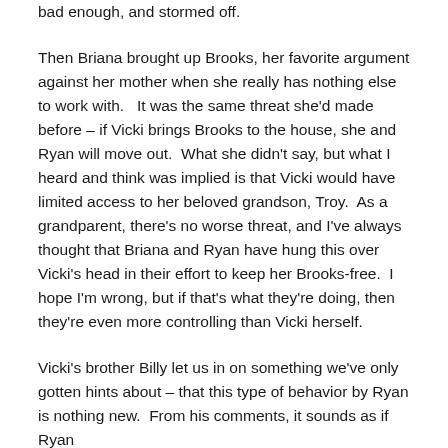bad enough, and stormed off.
Then Briana brought up Brooks, her favorite argument against her mother when she really has nothing else to work with.   It was the same threat she'd made before – if Vicki brings Brooks to the house, she and Ryan will move out.  What she didn't say, but what I heard and think was implied is that Vicki would have limited access to her beloved grandson, Troy.  As a grandparent, there's no worse threat, and I've always thought that Briana and Ryan have hung this over Vicki's head in their effort to keep her Brooks-free.  I hope I'm wrong, but if that's what they're doing, then they're even more controlling than Vicki herself.
Vicki's brother Billy let us in on something we've only gotten hints about – that this type of behavior by Ryan is nothing new.  From his comments, it sounds as if Ryan